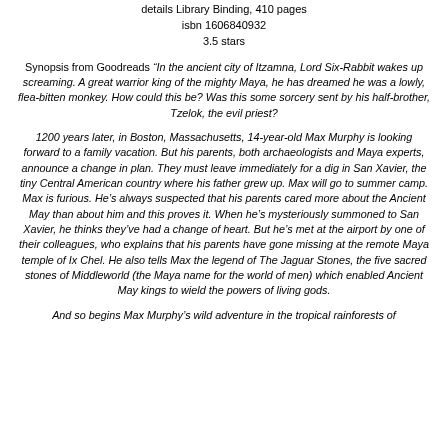details Library Binding, 410 pages
isbn 1606840932
3.5 stars
Synopsis from Goodreads “In the ancient city of Itzamna, Lord Six-Rabbit wakes up screaming. A great warrior king of the mighty Maya, he has dreamed he was a lowly, flea-bitten monkey. How could this be? Was this some sorcery sent by his half-brother, Tzelok, the evil priest?
1200 years later, in Boston, Massachusetts, 14-year-old Max Murphy is looking forward to a family vacation. But his parents, both archaeologists and Maya experts, announce a change in plan. They must leave immediately for a dig in San Xavier, the tiny Central American country where his father grew up. Max will go to summer camp. Max is furious. He’s always suspected that his parents cared more about the Ancient May than about him and this proves it. When he’s mysteriously summoned to San Xavier, he thinks they’ve had a change of heart. But he’s met at the airport by one of their colleagues, who explains that his parents have gone missing at the remote Maya temple of Ix Chel. He also tells Max the legend of The Jaguar Stones, the five sacred stones of Middleworld (the Maya name for the world of men) which enabled Ancient May kings to wield the powers of living gods.
And so begins Max Murphy’s wild adventure in the tropical rainforests of